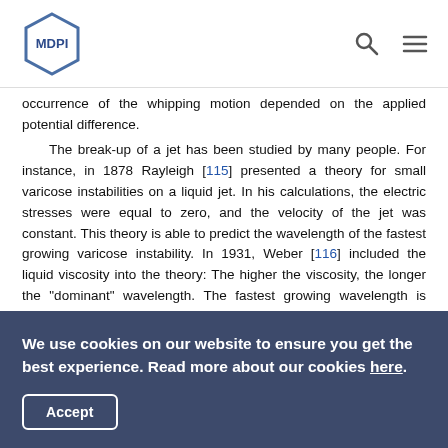MDPI
occurrence of the whipping motion depended on the applied potential difference.
The break-up of a jet has been studied by many people. For instance, in 1878 Rayleigh [115] presented a theory for small varicose instabilities on a liquid jet. In his calculations, the electric stresses were equal to zero, and the velocity of the jet was constant. This theory is able to predict the wavelength of the fastest growing varicose instability. In 1931, Weber [116] included the liquid viscosity into the theory: The higher the viscosity, the longer the "dominant" wavelength. The fastest growing wavelength is often called the dominant wavelength, because the jet always breaks up through instabilities with a
We use cookies on our website to ensure you get the best experience. Read more about our cookies here.
Accept